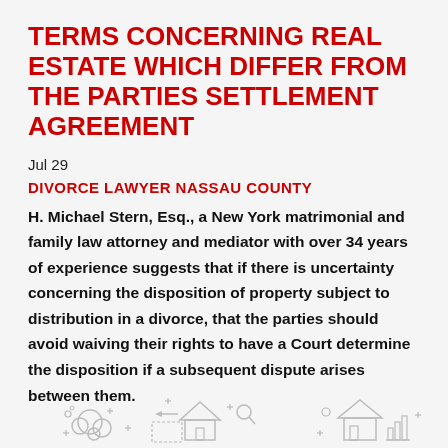TERMS CONCERNING REAL ESTATE WHICH DIFFER FROM THE PARTIES SETTLEMENT AGREEMENT
Jul 29
DIVORCE LAWYER NASSAU COUNTY
H. Michael Stern, Esq., a New York matrimonial and family law attorney and mediator with over 34 years of experience suggests that if there is uncertainty concerning the disposition of property subject to distribution in a divorce, that the parties should avoid waiving their rights to have a Court determine the disposition if a subsequent dispute arises between them.
[Figure (illustration): Line art illustration of real estate / house icons with decorative elements]